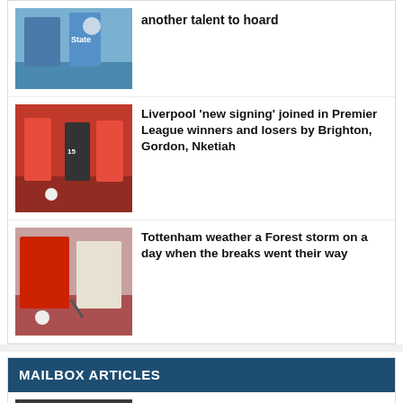[Figure (photo): Football players in blue Everton kits on a football pitch]
another talent to hoard
[Figure (photo): Liverpool players in red kits competing in a match]
Liverpool 'new signing' joined in Premier League winners and losers by Brighton, Gordon, Nketiah
[Figure (photo): Tottenham and Nottingham Forest players competing on pitch]
Tottenham weather a Forest storm on a day when the breaks went their way
MAILBOX ARTICLES
[Figure (photo): Aston Villa manager Steven Gerrard on the touchline]
Time for Aston Villa to acknowledge Gerrard mistake and move for Pochettino…
[Figure (photo): Arsenal players or staff, partially visible]
Current Arsenal side bring back